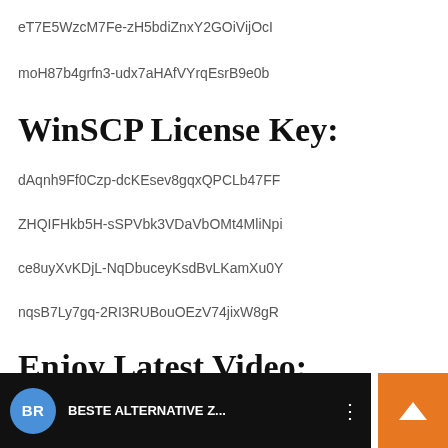eT7E5WzcM7Fe-zH5bdiZnxY2GOiVijOcI
moH87b4grfn3-udx7aHAfVYrqEsrB9e0b
WinSCP License Key:
dAqnh9Ff0Czp-dcKEsev8gqxQPCLb47FF
ZHQIFHkb5H-sSPVbk3VDaVbOMt4MliNpi
ce8uyXvKDjL-NqDbuceyKsdBvLKamXu0Y
nqsB7Ly7gq-2RI3RUBouOEzV74jixW8gR
Enjoy Latest Video:
[Figure (screenshot): Video thumbnail bar showing BR logo circle, text 'BESTE ALTERNATIVE Z...' and a vertical dots menu, with orange scroll-to-top button on right]